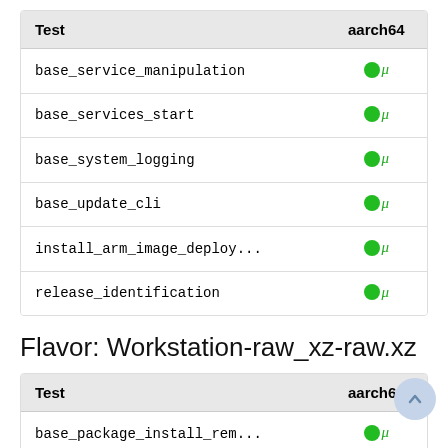| Test | aarch64 |
| --- | --- |
| base_service_manipulation | ● μ |
| base_services_start | ● μ |
| base_system_logging | ● μ |
| base_update_cli | ● μ |
| install_arm_image_deploy... | ● μ |
| release_identification | ● μ |
Flavor: Workstation-raw_xz-raw.xz
| Test | aarch64 |
| --- | --- |
| base_package_install_rem... | ● μ |